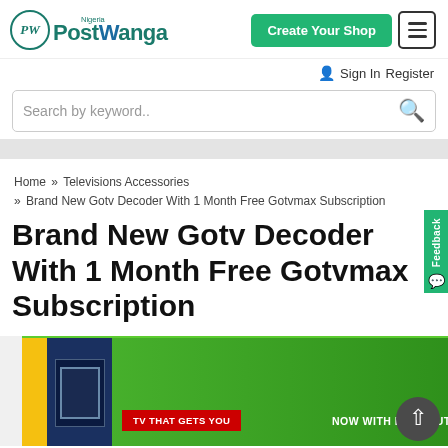[Figure (logo): PostWanga Nigeria logo with circular PW emblem and teal brand name]
Create Your Shop
Sign In  Register
Search by keyword..
Home » Televisions Accessories » Brand New Gotv Decoder With 1 Month Free Gotvmax Subscription
Brand New Gotv Decoder With 1 Month Free Gotvmax Subscription
[Figure (photo): Product photo of Gotv decoder box with green packaging, yellow stripe, blue TV image, red TV THAT GETS YOU banner, and NOW WITH HDMI OUTPUT text]